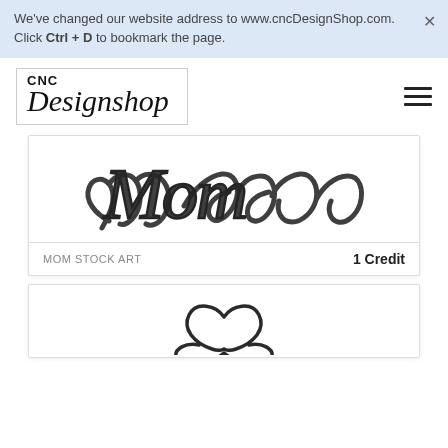We've changed our website address to www.cncDesignShop.com. Click Ctrl + D to bookmark the page.
[Figure (logo): CNC Designshop logo in a bordered box with hamburger menu icon on the right]
[Figure (illustration): Cursive calligraphy text reading 'Mom' in dark ink]
MOM STOCK ART
1 Credit
[Figure (illustration): Partial view of a heart/infinity symbol illustration in dark ink]